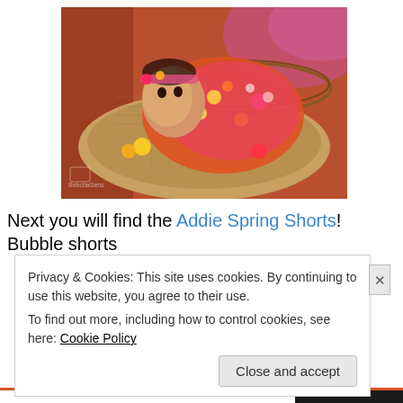[Figure (photo): A baby dressed in colorful orange, pink, and yellow floral outfit with flower headband, lying in a wicker basket on burlap fabric surrounded by flowers. Watermark visible at bottom left.]
Next you will find the Addie Spring Shorts! Bubble shorts
Privacy & Cookies: This site uses cookies. By continuing to use this website, you agree to their use.
To find out more, including how to control cookies, see here: Cookie Policy
Close and accept